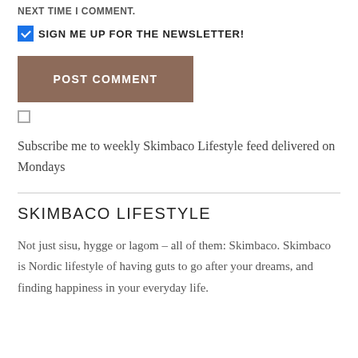NEXT TIME I COMMENT.
SIGN ME UP FOR THE NEWSLETTER!
POST COMMENT
Subscribe me to weekly Skimbaco Lifestyle feed delivered on Mondays
SKIMBACO LIFESTYLE
Not just sisu, hygge or lagom – all of them: Skimbaco. Skimbaco is Nordic lifestyle of having guts to go after your dreams, and finding happiness in your everyday life.